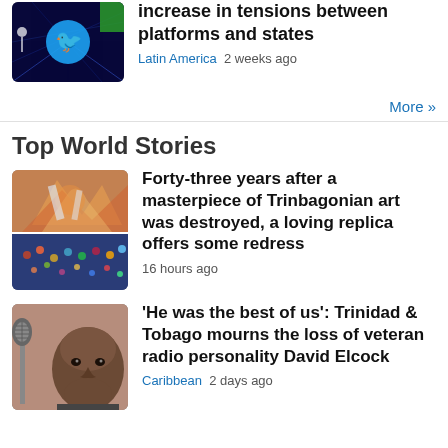[Figure (photo): Twitter bird logo on dark blue tech network background with green element]
increase in tensions between platforms and states
Latin America  2 weeks ago
More »
Top World Stories
[Figure (photo): Two-panel image: top shows colorful mural artwork of figures, bottom shows carnival crowd scene]
Forty-three years after a masterpiece of Trinbagonian art was destroyed, a loving replica offers some redress
16 hours ago
[Figure (photo): Close-up photo of an older Black man's face next to a vintage microphone]
'He was the best of us': Trinidad & Tobago mourns the loss of veteran radio personality David Elcock
Caribbean  2 days ago